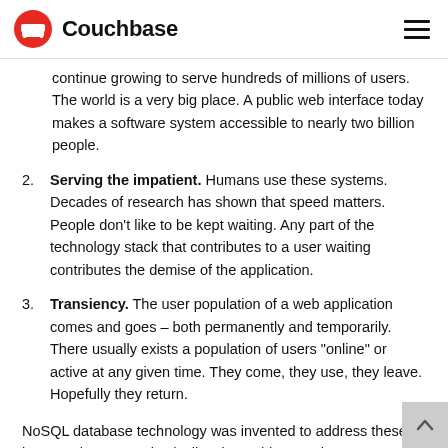Couchbase
continue growing to serve hundreds of millions of users. The world is a very big place. A public web interface today makes a software system accessible to nearly two billion people.
2. Serving the impatient. Humans use these systems. Decades of research has shown that speed matters. People don’t like to be kept waiting. Any part of the technology stack that contributes to a user waiting contributes the demise of the application.
3. Transiency. The user population of a web application comes and goes – both permanently and temporarily. There usually exists a population of users “online” or active at any given time. They come, they use, they leave. Hopefully they return.
NoSQL database technology was invented to address these issues. They grow elastically – just add more cheap